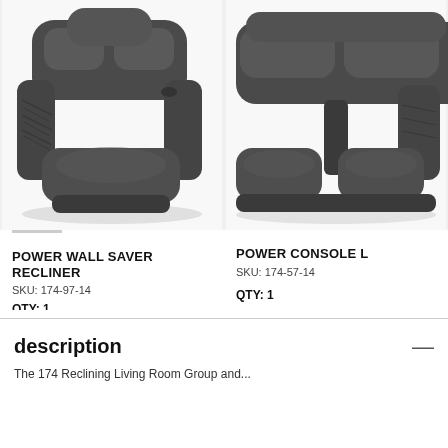[Figure (photo): Photo of a dark gray leather power wall saver recliner chair, front-angle view]
POWER WALL SAVER RECLINER
SKU: 174-97-14
QTY: 1
[Figure (photo): Photo of a dark gray leather power console loveseat recliner, partially visible, cropped on right side]
POWER CONSOLE L
SKU: 174-57-14
QTY: 1
description
The 174 Reclining Living Room Group and...